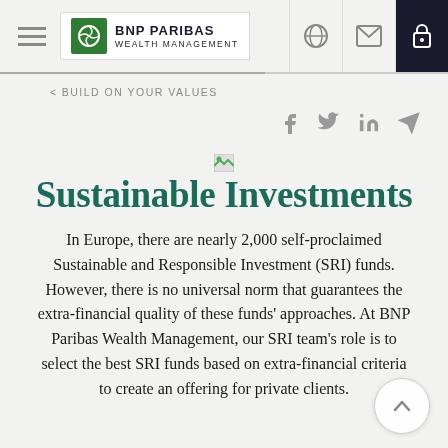BNP PARIBAS WEALTH MANAGEMENT
< BUILD ON YOUR VALUES
Sustainable Investments
In Europe, there are nearly 2,000 self-proclaimed Sustainable and Responsible Investment (SRI) funds. However, there is no universal norm that guarantees the extra-financial quality of these funds' approaches. At BNP Paribas Wealth Management, our SRI team's role is to select the best SRI funds based on extra-financial criteria to create an offering for private clients.